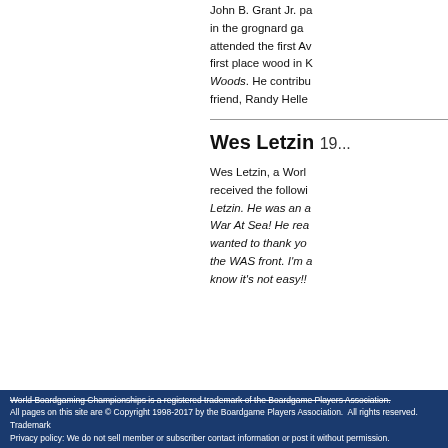John B. Grant Jr. pa... in the grognard ga... attended the first A... first place wood in K... Woods. He contribu... friend, Randy Helle...
Wes Letzin 19...
Wes Letzin, a Worl... received the followi... Letzin. He was an a... War At Sea! He rea... wanted to thank yo... the WAS front. I'm a... know it's not easy!!...
World Boardgaming Championships is a registered trademark of the Boardgame Players Association. All pages on this site are © Copyright 1998-2017 by the Boardgame Players Association. All rights reserved. Trademark... Privacy policy: We do not sell member or subscriber contact information or post it without permission.